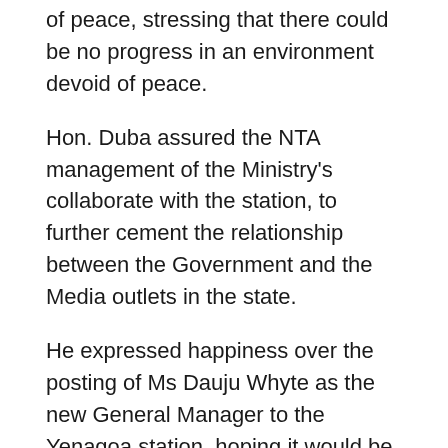of peace, stressing that there could be no progress in an environment devoid of peace.
Hon. Duba assured the NTA management of the Ministry's collaborate with the station, to further cement the relationship between the Government and the Media outlets in the state.
He expressed happiness over the posting of Ms Dauju Whyte as the new General Manager to the Yenagoa station, hoping it would be like a home coming for her.
Earlier, the General Manager of the NTA Yenagoa Station, Ms Dauju Whyte thanked the Commissioner for meeting with the management of the station, adding that the aim of the visit was